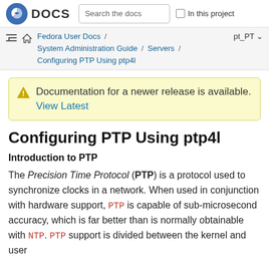DOCS  Search the docs  In this project
Fedora User Docs / System Administration Guide / Servers / Configuring PTP Using ptp4l  pt_PT
Documentation for a newer release is available. View Latest
Configuring PTP Using ptp4l
Introduction to PTP
The Precision Time Protocol (PTP) is a protocol used to synchronize clocks in a network. When used in conjunction with hardware support, PTP is capable of sub-microsecond accuracy, which is far better than is normally obtainable with NTP. PTP support is divided between the kernel and user